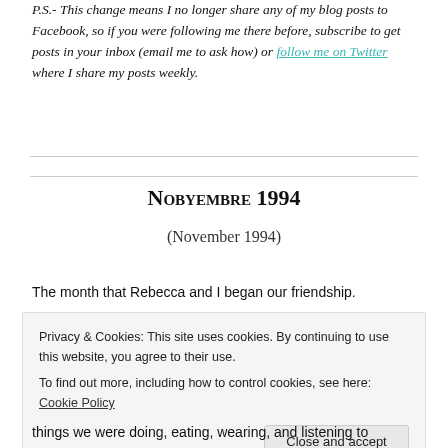P.S.- This change means I no longer share any of my blog posts to Facebook, so if you were following me there before, subscribe to get posts in your inbox (email me to ask how) or follow me on Twitter where I share my posts weekly.
Nobyembre 1994
(November 1994)
The month that Rebecca and I began our friendship.
Privacy & Cookies: This site uses cookies. By continuing to use this website, you agree to their use. To find out more, including how to control cookies, see here: Cookie Policy
Close and accept
things we were doing, eating, wearing, and listening to